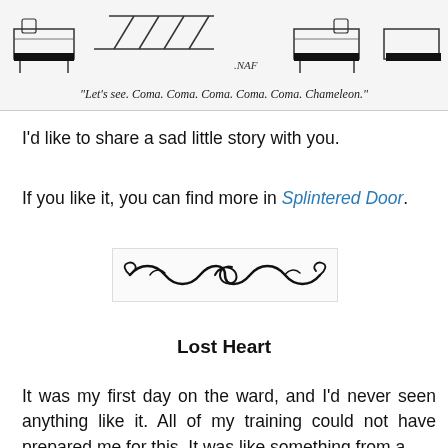[Figure (illustration): A comic/cartoon panel showing figures in hospital beds arranged in a row, with '.NAF' signature, captioned 'Let's see. Coma. Coma. Coma. Coma. Coma. Chameleon.']
"Let's see. Coma. Coma. Coma. Coma. Coma. Chameleon."
I'd like to share a sad little story with you.
If you like it, you can find more in Splintered Door.
[Figure (illustration): Decorative swirling wave divider ornament]
Lost Heart
It was my first day on the ward, and I'd never seen anything like it. All of my training could not have prepared me for this. It was like something from a